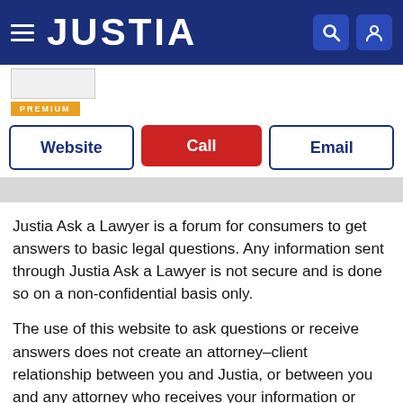JUSTIA
[Figure (logo): Justia website header with logo and navigation icons]
PREMIUM
Website | Call | Email
Justia Ask a Lawyer is a forum for consumers to get answers to basic legal questions. Any information sent through Justia Ask a Lawyer is not secure and is done so on a non-confidential basis only.
The use of this website to ask questions or receive answers does not create an attorney–client relationship between you and Justia, or between you and any attorney who receives your information or responds to your questions, nor is it intended to create such a relationship. Additionally, no responses on this forum constitute legal advice, which must be tailored to the specific circumstances of each case. You should not act upon information provided in Justia Ask a Lawyer without seeking professional counsel from an attorney admitted or authorized